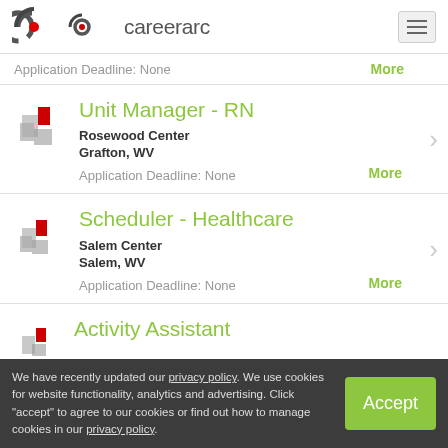careerarc
Application Deadline: None | More
Unit Manager - RN
Rosewood Center
Grafton, WV
Application Deadline: None
Scheduler - Healthcare
Salem Center
Salem, WV
Application Deadline: None
Activity Assistant
We have recently updated our privacy policy. We use cookies for website functionality, analytics and advertising. Click "accept" to agree to our cookies or find out how to manage cookies in our privacy policy.